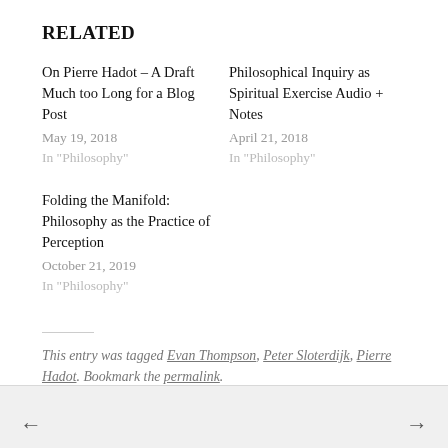RELATED
On Pierre Hadot – A Draft Much too Long for a Blog Post
May 19, 2018
In "Philosophy"
Philosophical Inquiry as Spiritual Exercise Audio + Notes
April 21, 2018
In "Philosophy"
Folding the Manifold: Philosophy as the Practice of Perception
October 21, 2019
In "Philosophy"
This entry was tagged Evan Thompson, Peter Sloterdijk, Pierre Hadot. Bookmark the permalink.